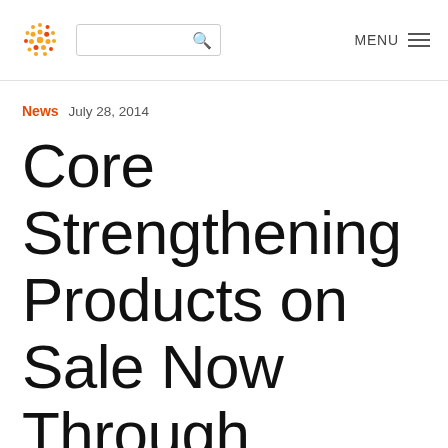[Logo] [Search] MENU
News  July 28, 2014
Core Strengthening Products on Sale Now Through August 17th